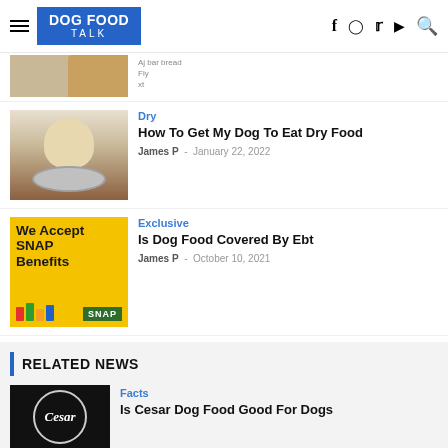DOG FOOD TALK
[Figure (photo): Partial top article thumbnail - dog image cropped]
[Figure (photo): Dog sniffing a bowl of dry food]
Dry
How To Get My Dog To Eat Dry Food
James P  -  January 22, 2022
[Figure (photo): We Accept SNAP Benefits sign with SNAP logo on yellow background]
Exclusive
Is Dog Food Covered By Ebt
James P  -  October 10, 2021
RELATED NEWS
[Figure (photo): Cesar dog food can thumbnail]
Facts
Is Cesar Dog Food Good For Dogs